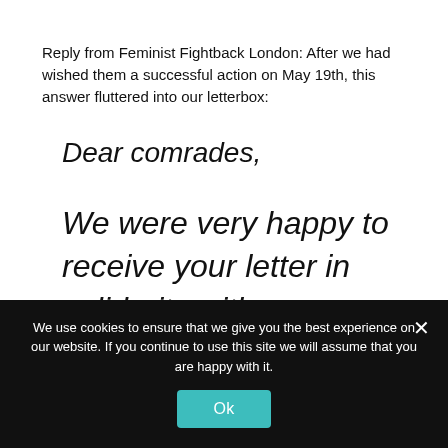Reply from Feminist Fightback London: After we had wished them a successful action on May 19th, this answer fluttered into our letterbox:
Dear comrades,
We were very happy to receive your letter in solidarity with our action. The pro-choice action in Stratford,
We use cookies to ensure that we give you the best experience on our website. If you continue to use this site we will assume that you are happy with it.